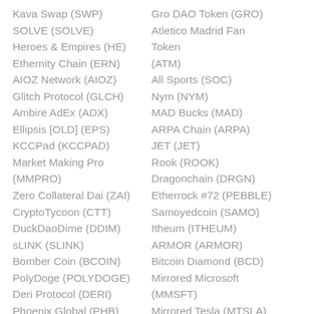Kava Swap (SWP)
SOLVE (SOLVE)
Heroes & Empires (HE)
Ethernity Chain (ERN)
AIOZ Network (AIOZ)
Glitch Protocol (GLCH)
Ambire AdEx (ADX)
Ellipsis [OLD] (EPS)
KCCPad (KCCPAD)
Market Making Pro (MMPRO)
Zero Collateral Dai (ZAI)
CryptoTycoon (CTT)
DuckDaoDime (DDIM)
sLINK (SLINK)
Bomber Coin (BCOIN)
PolyDoge (POLYDOGE)
Deri Protocol (DERI)
Phoenix Global (PHB)
Gro DAO Token (GRO)
Atletico Madrid Fan Token (ATM)
All Sports (SOC)
Nym (NYM)
MAD Bucks (MAD)
ARPA Chain (ARPA)
JET (JET)
Rook (ROOK)
Dragonchain (DRGN)
Etherrock #72 (PEBBLE)
Samoyedcoin (SAMO)
Itheum (ITHEUM)
ARMOR (ARMOR)
Bitcoin Diamond (BCD)
Mirrored Microsoft (MMSFT)
Mirrored Tesla (MTSLA)
Celo Euro (CEUR)